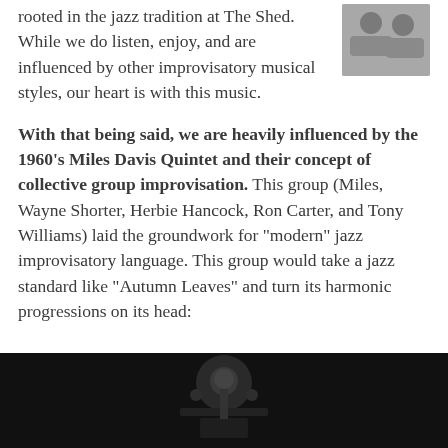Our improvisation concept is firmly rooted in the jazz tradition at The Shed. While we do listen, enjoy, and are influenced by other improvisatory musical styles, our heart is with this music.
[Figure (photo): Portrait photo of two people, upper right corner of page]
With that being said, we are heavily influenced by the 1960's Miles Davis Quintet and their concept of collective group improvisation. This group (Miles, Wayne Shorter, Herbie Hancock, Ron Carter, and Tony Williams) laid the groundwork for “modern” jazz improvisatory language. This group would take a jazz standard like “Autumn Leaves” and turn its harmonic progressions on its head:
[Figure (photo): Black and white photo of a jazz musician, bottom of page]